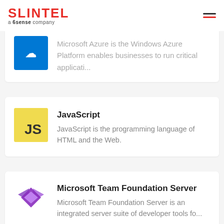SLINTEL a 6sense company
[Figure (logo): Microsoft Azure blue logo icon (partially visible)]
Microsoft Azure is the Windows Azure Platform enables businesses to run critical applicati...
[Figure (logo): JavaScript yellow shield logo with 'JS']
JavaScript
JavaScript is the programming language of HTML and the Web.
[Figure (logo): Microsoft Team Foundation Server purple logo]
Microsoft Team Foundation Server
Microsoft Team Foundation Server is an integrated server suite of developer tools fo...